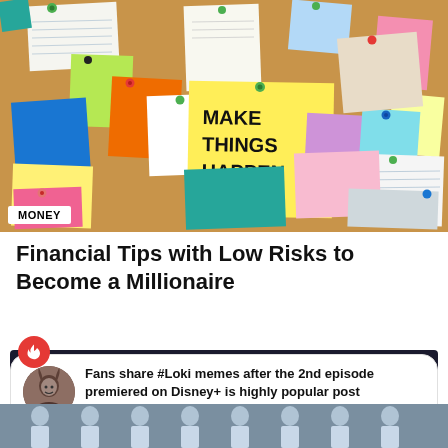[Figure (photo): A corkboard covered in colorful sticky notes and papers of various sizes and colors. The central prominent note is a large yellow sticky note with bold handwritten-style text reading 'MAKE THINGS HAPPEN'. A white label badge in the bottom-left corner reads 'MONEY' in bold caps.]
Financial Tips with Low Risks to Become a Millionaire
[Figure (screenshot): A social media share card with a red fire badge icon at the top-left. Contains a circular avatar image of a person in costume, and bold text: 'Fans share #Loki memes after the 2nd episode premiered on Disney+ is highly popular post having 3 Twitter shares'. Subtitle: 'Share with your friends'. An up-arrow icon is at the bottom right.]